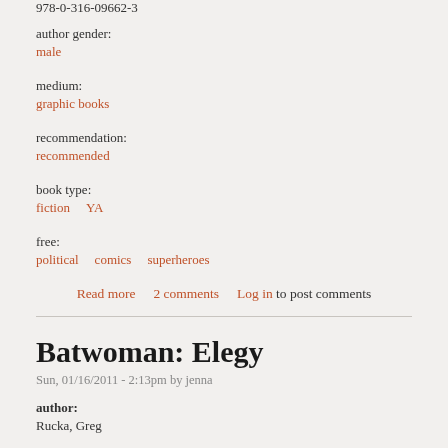978-0-316-09662-3
author gender:
male
medium:
graphic books
recommendation:
recommended
book type:
fiction    YA
free:
political    comics    superheroes
Read more  2 comments  Log in to post comments
Batwoman: Elegy
Sun, 01/16/2011 - 2:13pm by jenna
author:
Rucka, Greg